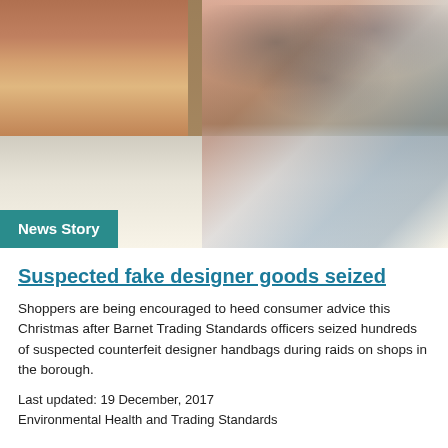[Figure (photo): A market stall displaying fur coats/scarves on the left and jewelry/accessories on shelves on the right, with a news badge overlay reading 'News Story']
Suspected fake designer goods seized
Shoppers are being encouraged to heed consumer advice this Christmas after Barnet Trading Standards officers seized hundreds of suspected counterfeit designer handbags during raids on shops in the borough.
Last updated: 19 December, 2017
Environmental Health and Trading Standards